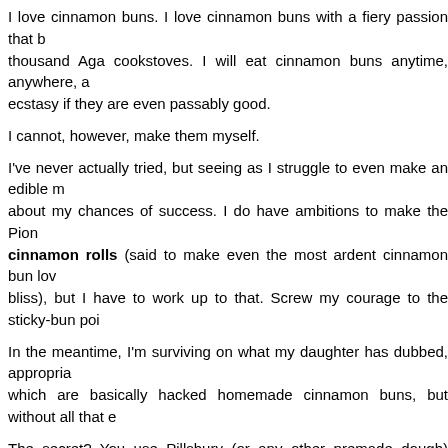I love cinnamon buns. I love cinnamon buns with a fiery passion that b- thousand Aga cookstoves. I will eat cinnamon buns anytime, anywhere, a- ecstasy if they are even passably good.
I cannot, however, make them myself.
I've never actually tried, but seeing as I struggle to even make an edible m- about my chances of success. I do have ambitions to make the Pion- cinnamon rolls (said to make even the most ardent cinnamon bun lov- bliss), but I have to work up to that. Screw my courage to the sticky-bun poi-
In the meantime, I'm surviving on what my daughter has dubbed, appropria- which are basically hacked homemade cinnamon buns, but without all that e-
The secret? You use Pillsbury (or any other premade dough) cinnamon ro- hack the icing.
So:
1) You take one package of Pillsbury, or whatever. Open it.
(Note: This can be tricky, as any Pillsbury fanatic knows. You take the- carefully if you need to preserve the baking instructions, otherwise, hack aw- the package, which they recommend doing by pressing a spoon against- doing via the 'smash against kitchen counter edge' method. Make sure th- small children in the vicinity, so that if any of the rolls fall onto the floor y-